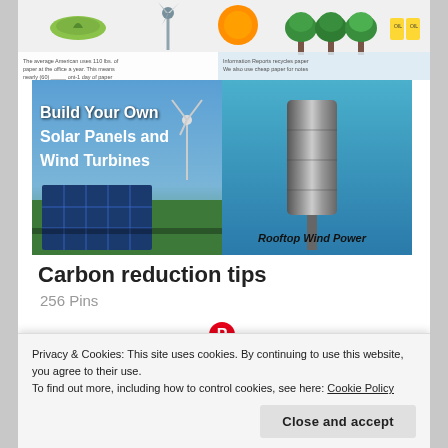[Figure (infographic): Eco/recycling icons and paper recycling infographic at top of page, partially visible]
[Figure (photo): Two-panel image: left panel shows solar panels and wind turbine with text 'Build Your Own Solar Panels and Wind Turbines'; right panel shows a cylindrical vertical-axis wind turbine against blue background with label 'Rooftop Wind Power']
Carbon reduction tips
256 Pins
[Figure (logo): Pinterest logo (red circle with white P) centered on a horizontal divider line]
[Figure (photo): Partial bottom image strip showing two photos, partially cut off]
Privacy & Cookies: This site uses cookies. By continuing to use this website, you agree to their use.
To find out more, including how to control cookies, see here: Cookie Policy
Close and accept